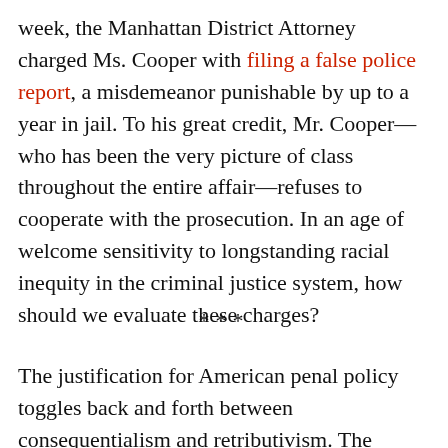week, the Manhattan District Attorney charged Ms. Cooper with filing a false police report, a misdemeanor punishable by up to a year in jail. To his great credit, Mr. Cooper—who has been the very picture of class throughout the entire affair—refuses to cooperate with the prosecution. In an age of welcome sensitivity to longstanding racial inequity in the criminal justice system, how should we evaluate these charges?
***
The justification for American penal policy toggles back and forth between consequentialism and retributivism. The consequentialist believes that